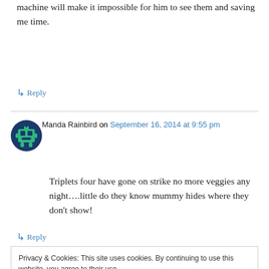machine will make it impossible for him to see them and saving me time.
↳ Reply
Manda Rainbird on September 16, 2014 at 9:55 pm
Triplets four have gone on strike no more veggies any night….little do they know mummy hides where they don't show!
↳ Reply
Privacy & Cookies: This site uses cookies. By continuing to use this website, you agree to their use.
To find out more, including how to control cookies, see here: Cookie Policy